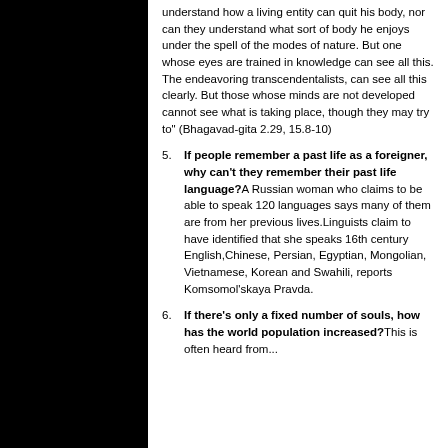understand how a living entity can quit his body, nor can they understand what sort of body he enjoys under the spell of the modes of nature. But one whose eyes are trained in knowledge can see all this. The endeavoring transcendentalists, can see all this clearly. But those whose minds are not developed cannot see what is taking place, though they may try to" (Bhagavad-gita 2.29, 15.8-10)
If people remember a past life as a foreigner, why can't they remember their past life language? A Russian woman who claims to be able to speak 120 languages says many of them are from her previous lives. Linguists claim to have identified that she speaks 16th century English, Chinese, Persian, Egyptian, Mongolian, Vietnamese, Korean and Swahili, reports Komsomol'skaya Pravda.
If there's only a fixed number of souls, how has the world population increased? This is often heard from...